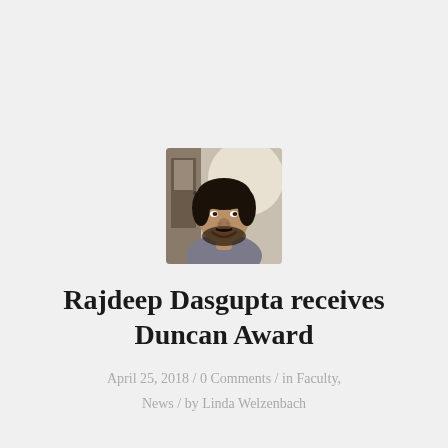[Figure (photo): Headshot photo of Rajdeep Dasgupta, a man with dark hair and beard, smiling, wearing a light shirt, photographed indoors.]
Rajdeep Dasgupta receives Duncan Award
April 25, 2018 / 0 Comments / in Faculty, News / by Linda Welzenbach